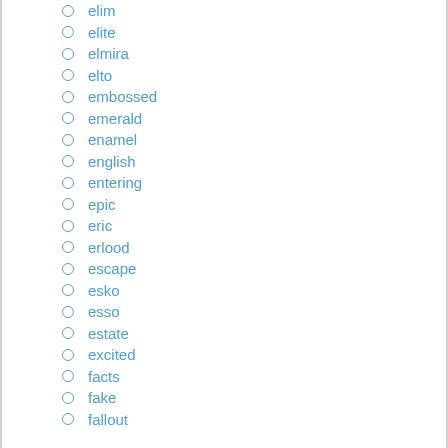elim
elite
elmira
elto
embossed
emerald
enamel
english
entering
epic
eric
erlood
escape
esko
esso
estate
excited
facts
fake
fallout